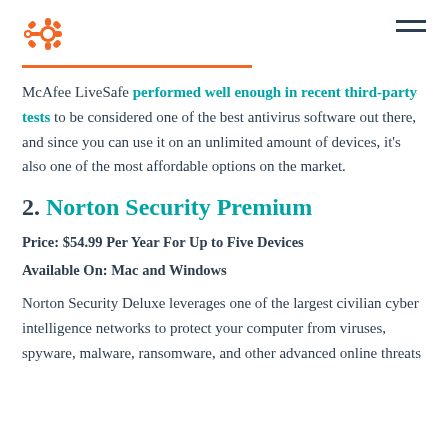HubSpot logo and navigation menu
McAfee LiveSafe performed well enough in recent third-party tests to be considered one of the best antivirus software out there, and since you can use it on an unlimited amount of devices, it's also one of the most affordable options on the market.
2. Norton Security Premium
Price: $54.99 Per Year For Up to Five Devices
Available On: Mac and Windows
Norton Security Deluxe leverages one of the largest civilian cyber intelligence networks to protect your computer from viruses, spyware, malware, ransomware, and other advanced online threats